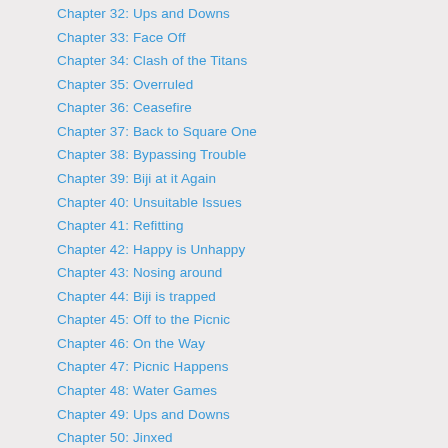Chapter 32: Ups and Downs
Chapter 33: Face Off
Chapter 34: Clash of the Titans
Chapter 35: Overruled
Chapter 36: Ceasefire
Chapter 37: Back to Square One
Chapter 38: Bypassing Trouble
Chapter 39: Biji at it Again
Chapter 40: Unsuitable Issues
Chapter 41: Refitting
Chapter 42: Happy is Unhappy
Chapter 43: Nosing around
Chapter 44: Biji is trapped
Chapter 45: Off to the Picnic
Chapter 46: On the Way
Chapter 47: Picnic Happens
Chapter 48: Water Games
Chapter 49: Ups and Downs
Chapter 50: Jinxed
Chapter 51: Comedy of Errors